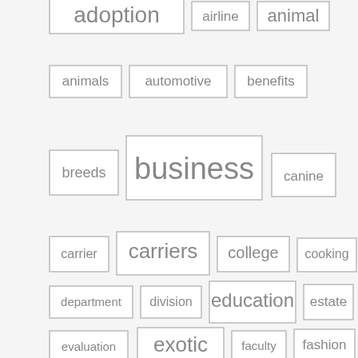[Figure (other): Tag cloud with words of varying sizes arranged in a grid-like layout: adoption, airline, animal, animals, automotive, benefits, breeds, business, canine, carrier, carriers, college, cooking, department, division, education, estate, evaluation, exotic, faculty, fashion, finest, getting, health, house, improvement, information]